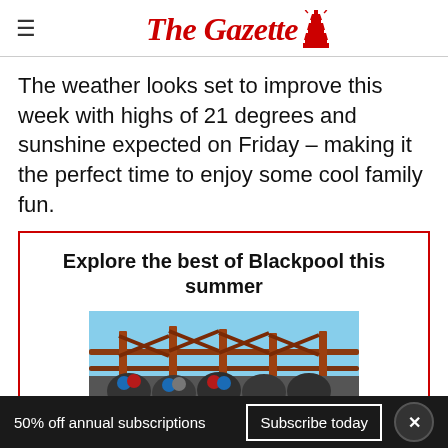The Gazette
The weather looks set to improve this week with highs of 21 degrees and sunshine expected on Friday – making it the perfect time to enjoy some cool family fun.
Explore the best of Blackpool this summer
[Figure (photo): Photograph of a fairground/theme park ride structure against a blue sky, partially obscured by gray overlay banner]
50% off annual subscriptions
Subscribe today